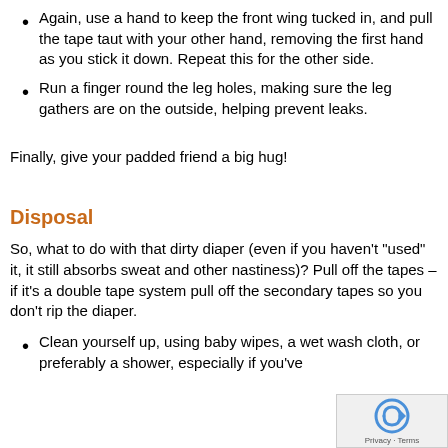Again, use a hand to keep the front wing tucked in, and pull the tape taut with your other hand, removing the first hand as you stick it down. Repeat this for the other side.
Run a finger round the leg holes, making sure the leg gathers are on the outside, helping prevent leaks.
Finally, give your padded friend a big hug!
Disposal
So, what to do with that dirty diaper (even if you haven't “used” it, it still absorbs sweat and other nastiness)? Pull off the tapes – if it's a double tape system pull off the secondary tapes so you don't rip the diaper.
Clean yourself up, using baby wipes, a wet wash cloth, or preferably a shower, especially if you've